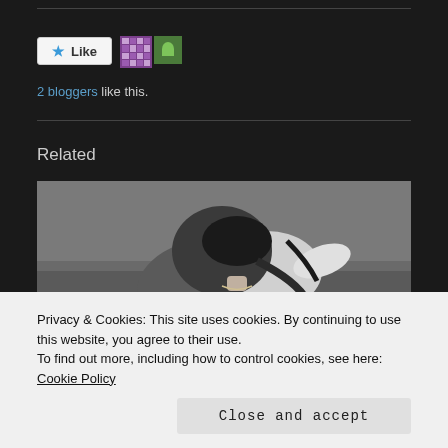[Figure (other): Like button with star icon and two blogger avatars]
2 bloggers like this.
Related
[Figure (photo): Black and white photo of a person with head down, appearing sad or distressed, sitting on grass]
Privacy & Cookies: This site uses cookies. By continuing to use this website, you agree to their use.
To find out more, including how to control cookies, see here: Cookie Policy
Close and accept
In "Adopting the older child"